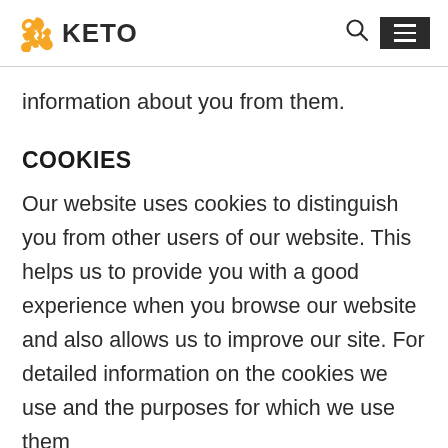KETO
information about you from them.
COOKIES
Our website uses cookies to distinguish you from other users of our website. This helps us to provide you with a good experience when you browse our website and also allows us to improve our site. For detailed information on the cookies we use and the purposes for which we use them